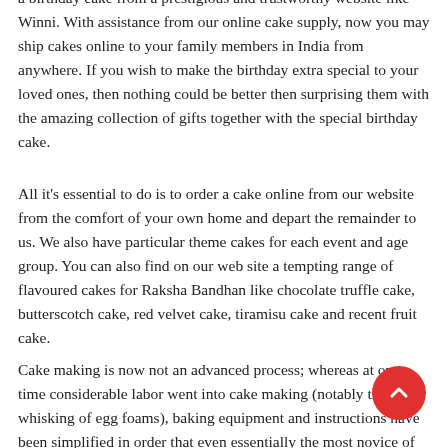a birthday cake from a prestigious and trustworthy website like Winni. With assistance from our online cake supply, now you may ship cakes online to your family members in India from anywhere. If you wish to make the birthday extra special to your loved ones, then nothing could be better then surprising them with the amazing collection of gifts together with the special birthday cake.
All it's essential to do is to order a cake online from our website from the comfort of your own home and depart the remainder to us. We also have particular theme cakes for each event and age group. You can also find on our web site a tempting range of flavoured cakes for Raksha Bandhan like chocolate truffle cake, butterscotch cake, red velvet cake, tiramisu cake and recent fruit cake.
Cake making is now not an advanced process; whereas at one time considerable labor went into cake making (notably the whisking of egg foams), baking equipment and instructions have been simplified in order that even essentially the most novice of